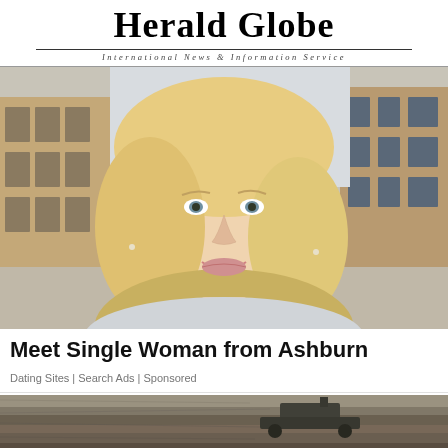Herald Globe
International News & Information Service
[Figure (photo): Portrait photo of a blonde woman smiling, with a building in the background]
Meet Single Woman from Ashburn
Dating Sites | Search Ads | Sponsored
[Figure (photo): Aerial or ground-level photo of a construction or excavation site with machinery]